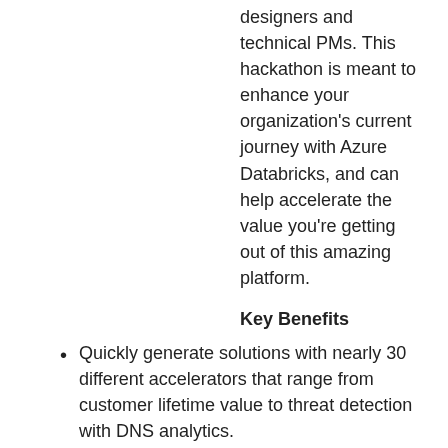designers and technical PMs. This hackathon is meant to enhance your organization's current journey with Azure Databricks, and can help accelerate the value you're getting out of this amazing platform.
Key Benefits
Quickly generate solutions with nearly 30 different accelerators that range from customer lifetime value to threat detection with DNS analytics.